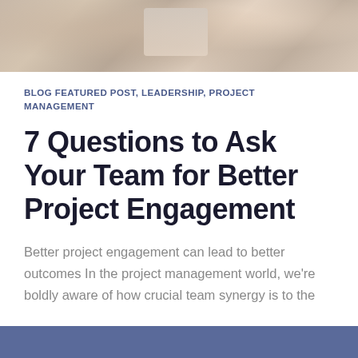[Figure (photo): Hero banner photo showing people in a meeting or collaborative work setting, blurred/abstract background]
BLOG FEATURED POST, LEADERSHIP, PROJECT MANAGEMENT
7 Questions to Ask Your Team for Better Project Engagement
Better project engagement can lead to better outcomes In the project management world, we're boldly aware of how crucial team synergy is to the